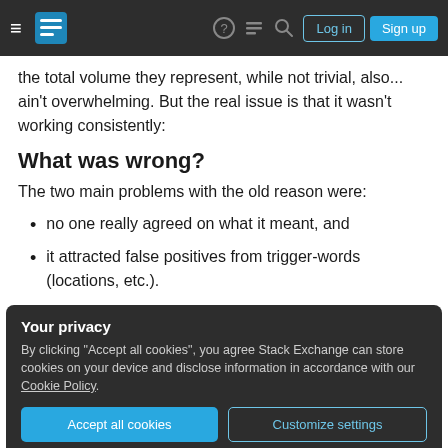Stack Exchange navigation bar with hamburger menu, logo, help, chat, search, Log in and Sign up buttons
the total volume they represent, while not trivial, also... ain't overwhelming. But the real issue is that it wasn't working consistently:
What was wrong?
The two main problems with the old reason were:
no one really agreed on what it meant, and
it attracted false positives from trigger-words (locations, etc.).
Your privacy
By clicking "Accept all cookies", you agree Stack Exchange can store cookies on your device and disclose information in accordance with our Cookie Policy.
Accept all cookies   Customize settings
aren't closable for other reasons, and no one